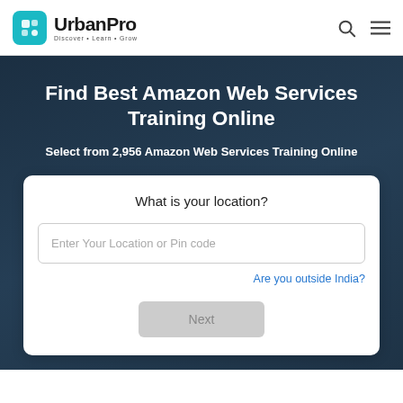UrbanPro — Discover • Learn • Grow
Find Best Amazon Web Services Training Online
Select from 2,956 Amazon Web Services Training Online
What is your location?
Enter Your Location or Pin code
Are you outside India?
Next